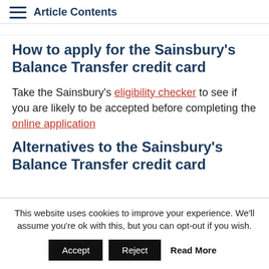Article Contents
How to apply for the Sainsbury's Balance Transfer credit card
Take the Sainsbury's eligibility checker to see if you are likely to be accepted before completing the online application
Alternatives to the Sainsbury's Balance Transfer credit card
This website uses cookies to improve your experience. We'll assume you're ok with this, but you can opt-out if you wish.
Accept | Reject | Read More